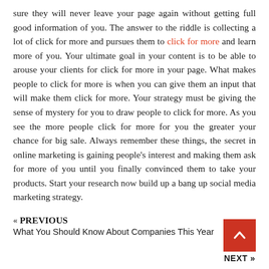sure they will never leave your page again without getting full good information of you. The answer to the riddle is collecting a lot of click for more and pursues them to click for more and learn more of you. Your ultimate goal in your content is to be able to arouse your clients for click for more in your page. What makes people to click for more is when you can give them an input that will make them click for more. Your strategy must be giving the sense of mystery for you to draw people to click for more. As you see the more people click for more for you the greater your chance for big sale. Always remember these things, the secret in online marketing is gaining people's interest and making them ask for more of you until you finally convinced them to take your products. Start your research now build up a bang up social media marketing strategy.
« PREVIOUS
What You Should Know About Companies This Year